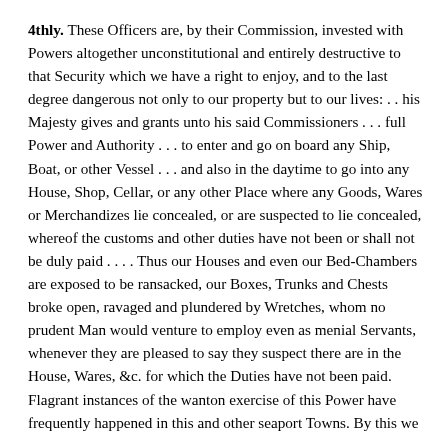4thly. These Officers are, by their Commission, invested with Powers altogether unconstitutional and entirely destructive to that Security which we have a right to enjoy, and to the last degree dangerous not only to our property but to our lives: . . his Majesty gives and grants unto his said Commissioners . . . full Power and Authority . . . to enter and go on board any Ship, Boat, or other Vessel . . . and also in the daytime to go into any House, Shop, Cellar, or any other Place where any Goods, Wares or Merchandizes lie concealed, or are suspected to lie concealed, whereof the customs and other duties have not been or shall not be duly paid . . . . Thus our Houses and even our Bed-Chambers are exposed to be ransacked, our Boxes, Trunks and Chests broke open, ravaged and plundered by Wretches, whom no prudent Man would venture to employ even as menial Servants, whenever they are pleased to say they suspect there are in the House, Wares, &c. for which the Duties have not been paid. Flagrant instances of the wanton exercise of this Power have frequently happened in this and other seaport Towns. By this we are cut off from that protection against which even the Li...